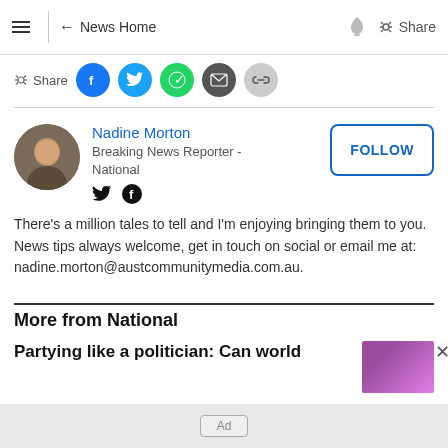≡  ← News Home   🔔  Share
Share (social icons: Facebook, Twitter, WhatsApp, Email, Link)
Nadine Morton
Breaking News Reporter - National
FOLLOW
There's a million tales to tell and I'm enjoying bringing them to you. News tips always welcome, get in touch on social or email me at: nadine.morton@austcommunitymedia.com.au.
More from National
Partying like a politician: Can world
Ad